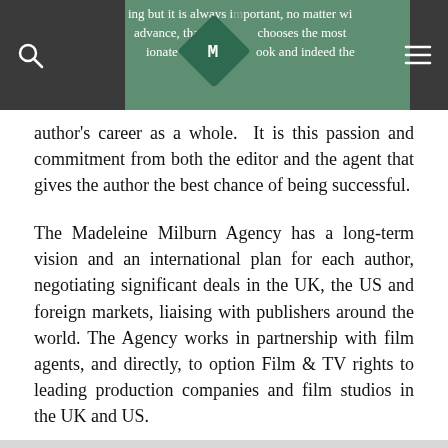ing but it is always important, no matter wh advance, that the [M] chooses the most ionate editor for the ook and indeed the
[Figure (logo): Madeleine Milburn Agency diamond-shaped logo with stylized M lettering on dark green background, set in a dark navigation bar]
author's career as a whole.  It is this passion and commitment from both the editor and the agent that gives the author the best chance of being successful.
The Madeleine Milburn Agency has a long-term vision and an international plan for each author, negotiating significant deals in the UK, the US and foreign markets, liaising with publishers around the world. The Agency works in partnership with film agents, and directly, to option Film & TV rights to leading production companies and film studios in the UK and US.